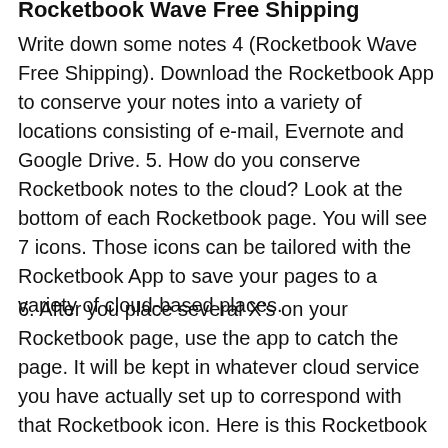Rocketbook Wave Free Shipping
Write down some notes 4 (Rocketbook Wave Free Shipping). Download the Rocketbook App to conserve your notes into a variety of locations consisting of e-mail, Evernote and Google Drive. 5. How do you conserve Rocketbook notes to the cloud? Look at the bottom of each Rocketbook page. You will see 7 icons. Those icons can be tailored with the Rocketbook App to save your pages to a variety of cloud-based places.
6. After you place several X’s on your Rocketbook page, use the app to catch the page. It will be kept in whatever cloud service you have actually set up to correspond with that Rocketbook icon. Here is this Rocketbook